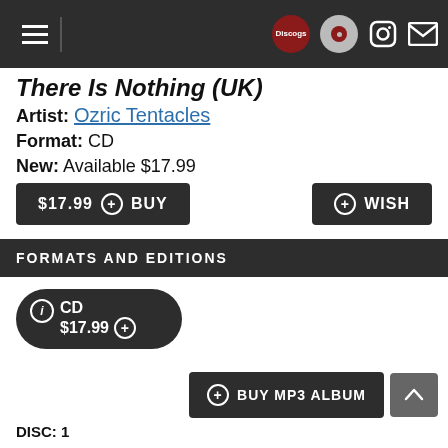Navigation bar with hamburger menu, Discogs badge, vinyl badge, Instagram icon, mail icon
There Is Nothing (UK)
Artist: Ozric Tentacles
Format: CD
New: Available $17.99
$17.99 + BUY
+ WISH
FORMATS AND EDITIONS
CD $17.99 +
+ BUY MP3 ALBUM
DISC: 1